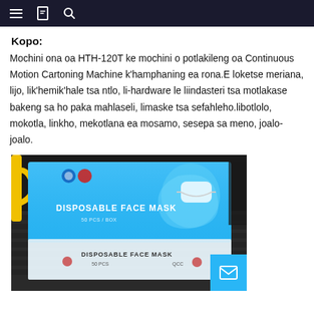Navigation bar with menu, bookmark, and search icons
Kopo:
Mochini ona oa HTH-120T ke mochini o potlakileng oa Continuous Motion Cartoning Machine k'hamphaning ea rona.E loketse meriana, lijo, lik'hemik'hale tsa ntlo, li-hardware le liindasteri tsa motlakase bakeng sa ho paka mahlaseli, limaske tsa sefahleho.libotlolo, mokotla, linkho, mekotlana ea mosamo, sesepa sa meno, joalo-joalo.
[Figure (photo): Photo of a blue Disposable Face Mask box sitting on a dark laptop keyboard with yellow cable visible in background.]